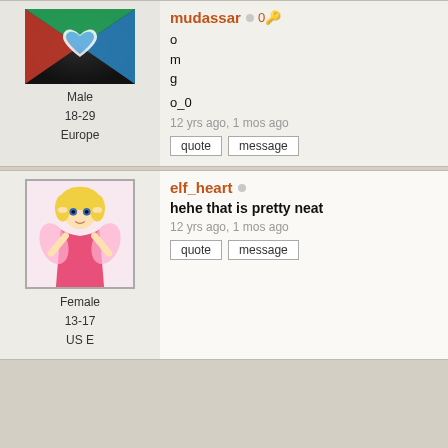[Figure (photo): Avatar image with red/blue heart on dark background]
Male
18-29
Europe
mudassar ○ 0🔑
o
m
g

o_0
12 yrs ago, 1 mos ago
quote | message
[Figure (photo): Anime-style elf girl avatar with pink outfit]
Female
13-17
US E
elf_heart ○
hehe that is pretty neat
12 yrs ago, 1 mos ago
quote | message